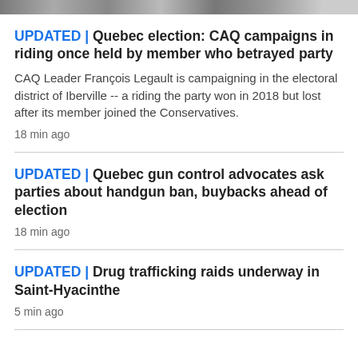[Figure (photo): Partial top strip showing cropped photos of people, likely politicians]
UPDATED | Quebec election: CAQ campaigns in riding once held by member who betrayed party
CAQ Leader François Legault is campaigning in the electoral district of Iberville -- a riding the party won in 2018 but lost after its member joined the Conservatives.
18 min ago
UPDATED | Quebec gun control advocates ask parties about handgun ban, buybacks ahead of election
18 min ago
UPDATED | Drug trafficking raids underway in Saint-Hyacinthe
5 min ago